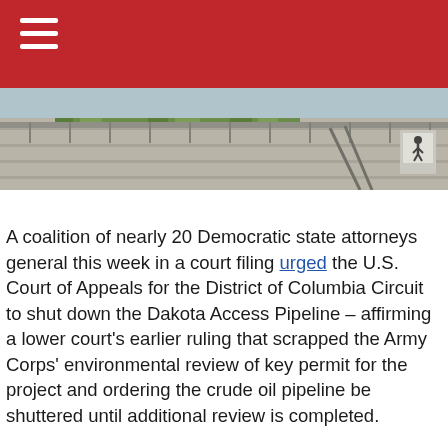[Figure (photo): Exterior photo of a concrete government building with green rooftop vegetation and metal railings, under a blue sky.]
A coalition of nearly 20 Democratic state attorneys general this week in a court filing urged the U.S. Court of Appeals for the District of Columbia Circuit to shut down the Dakota Access Pipeline – affirming a lower court's earlier ruling that scrapped the Army Corps' environmental review of key permit for the project and ordering the crude oil pipeline be shuttered until additional review is completed.
The group of attorneys general, led by Massachusetts Attorney General Maura Healey, put politics before the energy security of our nation – prioritizing emotion, anti-pipeline rhetoric, and an ideological opposition to the use …